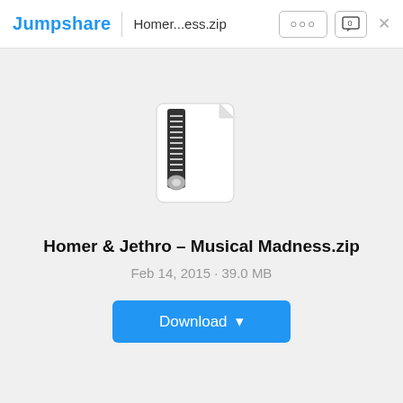Jumpshare | Homer...ess.zip
[Figure (illustration): ZIP file icon — a white document with folded top-right corner and a zipper/zip pull running vertically down the left side]
Homer & Jethro – Musical Madness.zip
Feb 14, 2015 · 39.0 MB
Download ▼